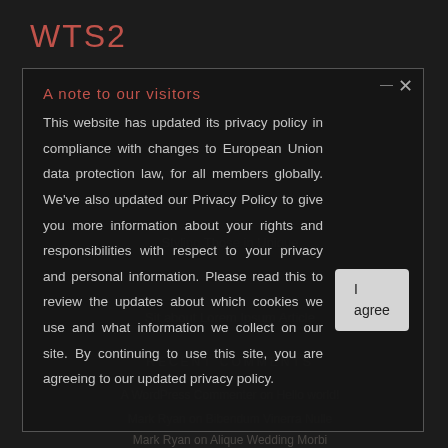WTS2
A note to our visitors
This website has updated its privacy policy in compliance with changes to European Union data protection law, for all members globally. We've also updated our Privacy Policy to give you more information about your rights and responsibilities with respect to your privacy and personal information. Please read this to review the updates about which cookies we use and what information we collect on our site. By continuing to use this site, you are agreeing to our updated privacy policy.